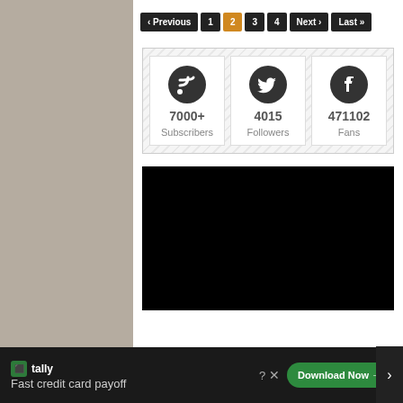[Figure (screenshot): Pagination navigation with Previous, 1, 2 (active/orange), 3, 4, Next, Last buttons in dark/orange styling]
[Figure (infographic): Social media stats widget showing RSS 7000+ Subscribers, Twitter 4015 Followers, Facebook 471102 Fans with circular icons on hatched background]
[Figure (photo): Black rectangle representing a video or image placeholder]
[Figure (screenshot): Tally advertisement banner: tally logo, Fast credit card payoff tagline, Download Now button]